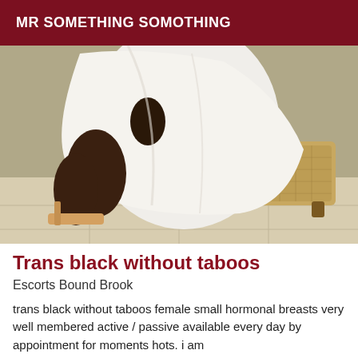MR SOMETHING SOMOTHING
[Figure (photo): A person wearing a white robe/garment seated on a wicker/rattan chair or ottoman, lower body visible, tile floor in background]
Trans black without taboos
Escorts Bound Brook
trans black without taboos female small hormonal breasts very well membered active / passive available every day by appointment for moments hots. i am